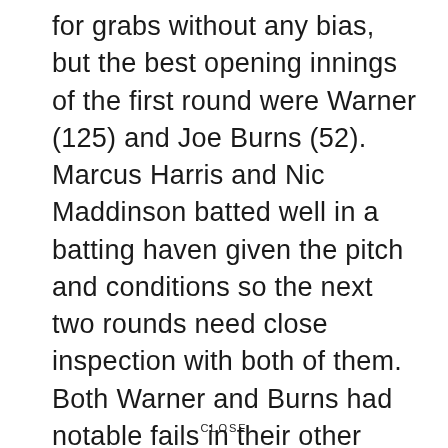for grabs without any bias, but the best opening innings of the first round were Warner (125) and Joe Burns (52). Marcus Harris and Nic Maddinson batted well in a batting haven given the pitch and conditions so the next two rounds need close inspection with both of them. Both Warner and Burns had notable fails in their other innings. The two opening positions remain up for grabs.
CLOSE